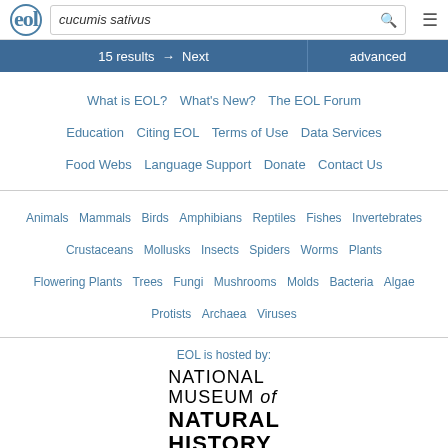eol | cucumis sativus [search]
15 results → Next | advanced
What is EOL? | What's New? | The EOL Forum | Education | Citing EOL | Terms of Use | Data Services | Food Webs | Language Support | Donate | Contact Us
Animals | Mammals | Birds | Amphibians | Reptiles | Fishes | Invertebrates | Crustaceans | Mollusks | Insects | Spiders | Worms | Plants | Flowering Plants | Trees | Fungi | Mushrooms | Molds | Bacteria | Algae | Protists | Archaea | Viruses
EOL is hosted by:
[Figure (logo): National Museum of Natural History - Smithsonian logo]